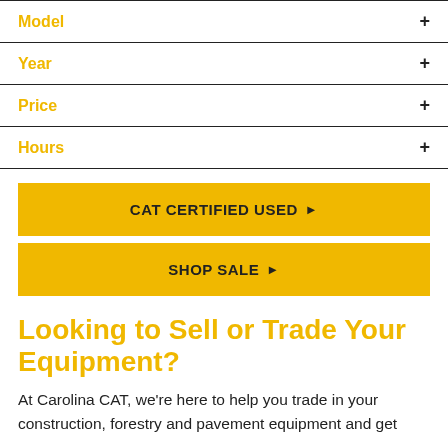Model +
Year +
Price +
Hours +
CAT CERTIFIED USED ▶
SHOP SALE ▶
Looking to Sell or Trade Your Equipment?
At Carolina CAT, we're here to help you trade in your construction, forestry and pavement equipment and get